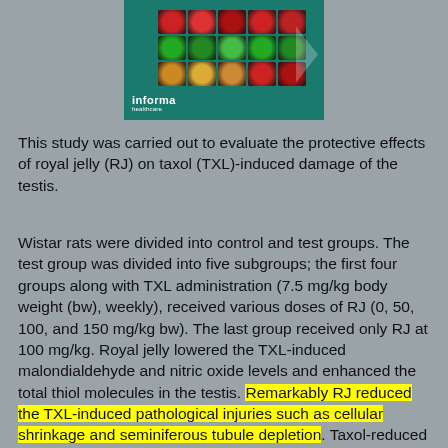[Figure (photo): Journal cover image showing a grid of fluorescence microscopy cell images on a teal/green background with an Informa Healthcare logo at bottom left and a right-pointing arrow overlay]
This study was carried out to evaluate the protective effects of royal jelly (RJ) on taxol (TXL)-induced damage of the testis.
Wistar rats were divided into control and test groups. The test group was divided into five subgroups; the first four groups along with TXL administration (7.5 mg/kg body weight (bw), weekly), received various doses of RJ (0, 50, 100, and 150 mg/kg bw). The last group received only RJ at 100 mg/kg. Royal jelly lowered the TXL-induced malondialdehyde and nitric oxide levels and enhanced the total thiol molecules in the testis. Remarkably RJ reduced the TXL-induced pathological injuries such as cellular shrinkage and seminiferous tubule depletion. Taxol-reduced sperm viability (27.5 ± 2.98 % vs. 85.0 ± 8.6% in the control group) was recovered by RJ administration as 80.5 ± 10.6% of the sperm were found alive in the group of animals which